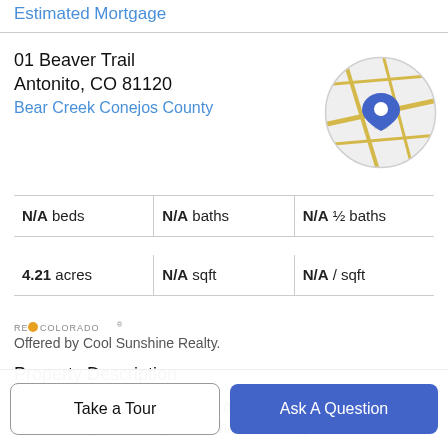Estimated Mortgage
01 Beaver Trail
Antonito, CO 81120
Bear Creek Conejos County
[Figure (map): Circular map thumbnail showing a location pin on a road map]
N/A beds | N/A baths | N/A ½ baths
4.21 acres | N/A sqft | N/A / sqft
[Figure (logo): REcolorado logo]
Offered by Cool Sunshine Realty.
Property Description
This amazing 4.21-acre lot is a rare find in this area, considering its acreage and that it already has an
Take a Tour
Ask A Question